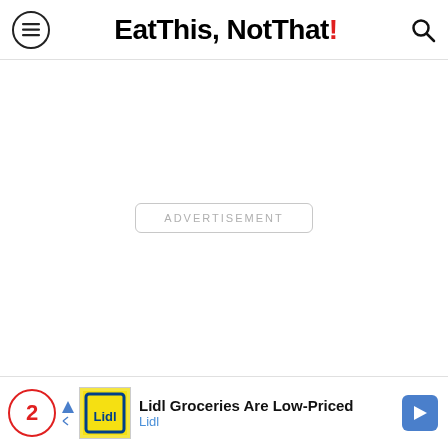Eat This, Not That!
[Figure (other): Advertisement placeholder box with text ADVERTISEMENT in light gray, centered in white space]
[Figure (other): Bottom banner ad: number circle '2' in red, Lidl grocery ad with text 'Lidl Groceries Are Low-Priced' and 'Lidl' in blue, with navigation arrow icon]